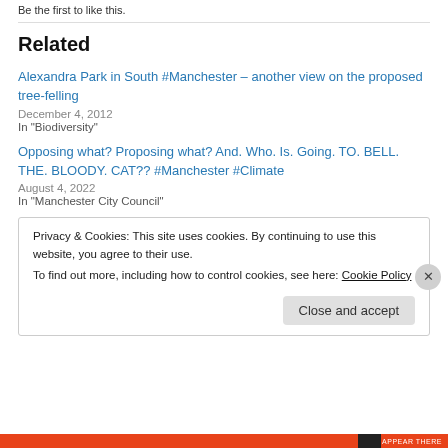Be the first to like this.
Related
Alexandra Park in South #Manchester – another view on the proposed tree-felling
December 4, 2012
In "Biodiversity"
Opposing what? Proposing what? And. Who. Is. Going. TO. BELL. THE. BLOODY. CAT?? #Manchester #Climate
August 4, 2022
In "Manchester City Council"
Privacy & Cookies: This site uses cookies. By continuing to use this website, you agree to their use.
To find out more, including how to control cookies, see here: Cookie Policy
Close and accept